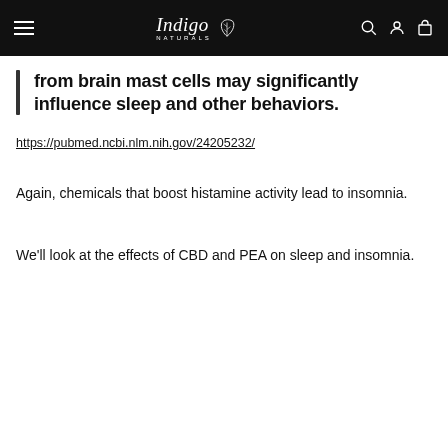Indigo Naturals — navigation bar
from brain mast cells may significantly influence sleep and other behaviors.
https://pubmed.ncbi.nlm.nih.gov/24205232/
Again, chemicals that boost histamine activity lead to insomnia.
We'll look at the effects of CBD and PEA on sleep and insomnia.